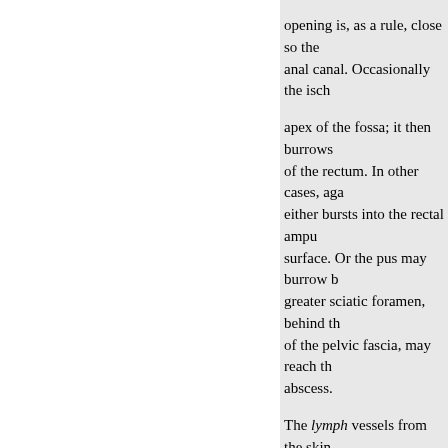opening is, as a rule, close so the anal canal. Occasionally the isch apex of the fossa; it then burrows of the rectum. In other cases, aga either bursts into the rectal ampu surface. Or the pus may burrow b greater sciatic foramen, behind th of the pelvic fascia, may reach th abscess.
The lymph vessels from the skin of the groin, both superficial and of the white line end in the hypo which issue from the mucous me few minute glands (ano-rectal gl rectum, along the superior haemo which lie internal to the anterior
Digital Examination of Rectum.- from the tip of the coccyx so as t and slightly forwards through the